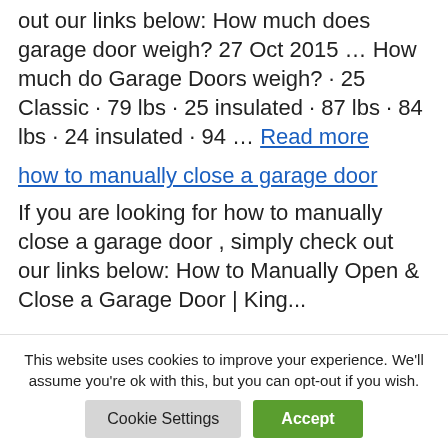out our links below: How much does garage door weigh? 27 Oct 2015 … How much do Garage Doors weigh? · 25 Classic · 79 lbs · 25 insulated · 87 lbs · 84 lbs · 24 insulated · 94 … Read more
how to manually close a garage door
If you are looking for how to manually close a garage door , simply check out our links below: How to Manually Open & Close a Garage Door | King...
This website uses cookies to improve your experience. We'll assume you're ok with this, but you can opt-out if you wish.